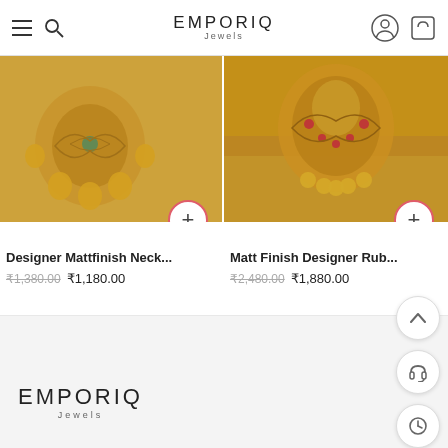EMPORIA Jewels
[Figure (photo): Close-up photo of gold mattfinish necklace jewelry on light marble background]
[Figure (photo): Close-up photo of gold matt finish designer ruby earrings on golden textile background]
Designer Mattfinish Neck...
₹1,380.00  ₹1,180.00
Matt Finish Designer Rub...
₹2,480.00  ₹1,880.00
[Figure (logo): Emporia Jewels logo in footer]